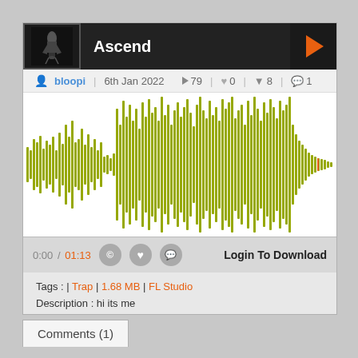Ascend
bloopi  6th Jan 2022  ▶ 79  ♥ 0  ▼ 8  💬 1
[Figure (other): Audio waveform visualization showing a yellow-green (olive) waveform for the track Ascend. The waveform shows varying amplitude across the track duration.]
0:00 / 01:13  © ♥ 💬  Login To Download
Tags : | Trap | 1.68 MB | FL Studio
Description : hi its me
Comments (1)